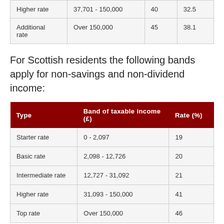| Higher rate | 37,701 - 150,000 | 40 | 32.5 |
| Additional rate | Over 150,000 | 45 | 38.1 |
For Scottish residents the following bands apply for non-savings and non-dividend income:
| Type | Band of taxable income (£) | Rate (%) |
| --- | --- | --- |
| Starter rate | 0 - 2,097 | 19 |
| Basic rate | 2,098 - 12,726 | 20 |
| Intermediate rate | 12,727 - 31,092 | 21 |
| Higher rate | 31,093 - 150,000 | 41 |
| Top rate | Over 150,000 | 46 |
For Welsh residents the following bands apply for